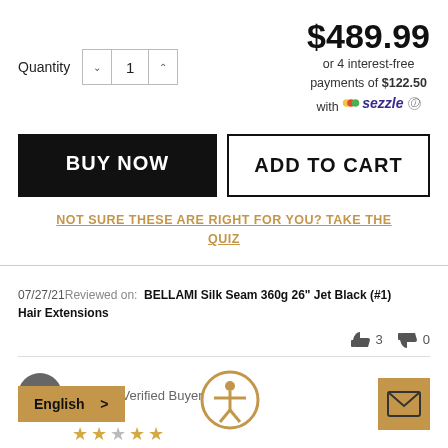$489.99
or 4 interest-free payments of $122.50 with Sezzle
Quantity 1
BUY NOW
ADD TO CART
NOT SURE THESE ARE RIGHT FOR YOU? TAKE THE QUIZ
07/27/21 Reviewed on: BELLAMI Silk Seam 360g 26" Jet Black (#1) Hair Extensions
3  0
Amy F. Verified Buyer
★★★★★
LOVE THEM!!! Super thick beautiful
LOVE THEM!!! Super thick beautiful and real.